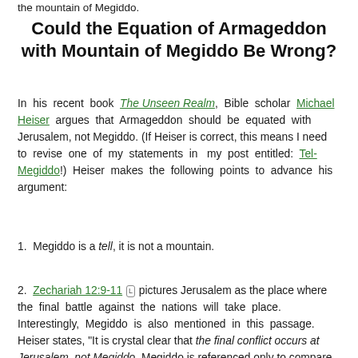the mountain of Megiddo.
Could the Equation of Armageddon with Mountain of Megiddo Be Wrong?
In his recent book The Unseen Realm, Bible scholar Michael Heiser argues that Armageddon should be equated with Jerusalem, not Megiddo. (If Heiser is correct, this means I need to revise one of my statements in my post entitled: Tel-Megiddo!) Heiser makes the following points to advance his argument:
1. Megiddo is a tell, it is not a mountain.
2. Zechariah 12:9-11 [L] pictures Jerusalem as the place where the final battle against the nations will take place. Interestingly, Megiddo is also mentioned in this passage. Heiser states, "It is crystal clear that the final conflict occurs at Jerusalem, not Megiddo. Megiddo is referenced only to compare